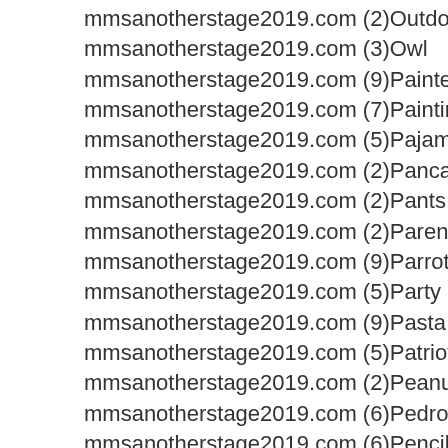mmsanotherstage2019.com (2)Outdoors
mmsanotherstage2019.com (3)Owl
mmsanotherstage2019.com (9)Painter
mmsanotherstage2019.com (7)Painting
mmsanotherstage2019.com (5)Pajama
mmsanotherstage2019.com (2)Pancake
mmsanotherstage2019.com (2)Pants
mmsanotherstage2019.com (2)Parent
mmsanotherstage2019.com (9)Parrot
mmsanotherstage2019.com (5)Party
mmsanotherstage2019.com (9)Pasta
mmsanotherstage2019.com (5)Patriotic
mmsanotherstage2019.com (2)Peanut Butter
mmsanotherstage2019.com (6)Pedro
mmsanotherstage2019.com (6)Pencil
mmsanotherstage2019.com (3)Penguin
mmsanotherstage2019.com (6)Pet
mmsanotherstage2019.com (17)Peter Pan
mmsanotherstage2019.com (3)Pharmacy